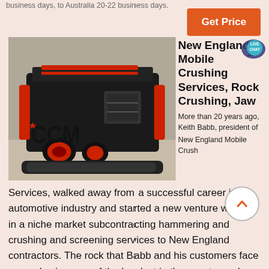business days, to Australia 20-22 business days.
Get Price
[Figure (photo): Industrial jaw crusher machine with CCM logo on the side, photographed in a warehouse setting. The machine is large and black with red accents.]
New England Mobile Crushing Services, Rock Crushing, Jaw
More than 20 years ago, Keith Babb, president of New England Mobile Crush Services, walked away from a successful career in the automotive industry and started a new venture working in a niche market subcontracting hammering and crushing and screening services to New England contractors. The rock that Babb and his customers face every day is some of the hardest in the country and shows up...